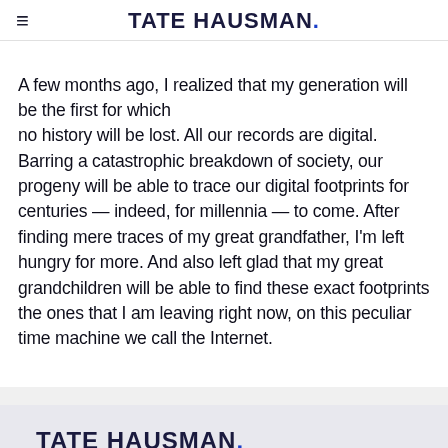≡   TATE HAUSMAN.
A few months ago, I realized that my generation will be the first for which no history will be lost. All our records are digital. Barring a catastrophic breakdown of society, our progeny will be able to trace our digital footprints for centuries — indeed, for millennia — to come. After finding mere traces of my great grandfather, I'm left hungry for more. And also left glad that my great grandchildren will be able to find these exact footprints the ones that I am leaving right now, on this peculiar time machine we call the Internet.
TATE HAUSMAN.